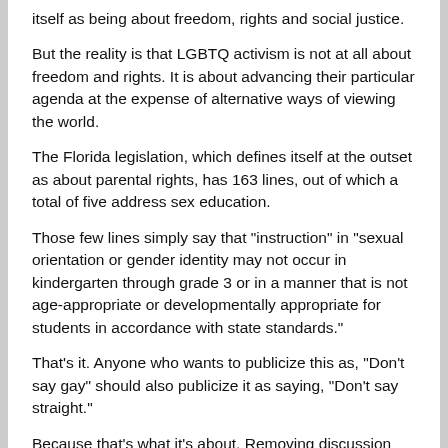itself as being about freedom, rights and social justice.
But the reality is that LGBTQ activism is not at all about freedom and rights. It is about advancing their particular agenda at the expense of alternative ways of viewing the world.
The Florida legislation, which defines itself at the outset as about parental rights, has 163 lines, out of which a total of five address sex education.
Those few lines simply say that "instruction" in "sexual orientation or gender identity may not occur in kindergarten through grade 3 or in a manner that is not age-appropriate or developmentally appropriate for students in accordance with state standards."
That's it. Anyone who wants to publicize this as, "Don't say gay" should also publicize it as saying, "Don't say straight."
Because that's what it's about. Removing discussion about sexual orientation from classrooms of toddlers.
But for LGBTQ activists, anything not actively promoting their agenda is taken as opposition. Therefore, for them, freedom, and the tolerance and neutrality that it requires, is by definition anti-LGBTQ.
As a Christian, my view is that denial of the reality of man and